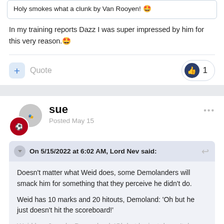Holy smokes what a clunk by Van Rooyen. 🤩
In my training reports Dazz I was super impressed by him for this very reason. 🤩
sue
Posted May 15
On 5/15/2022 at 6:02 AM, Lord Nev said:
Doesn't matter what Weid does, some Demolanders will smack him for something that they perceive he didn't do.

Weid has 10 marks and 20 hitouts, Demoland: 'Oh but he just doesn't hit the scoreboard!'

Weid has 6 goals, Demonland: 'Oh but he just doesn't do enough